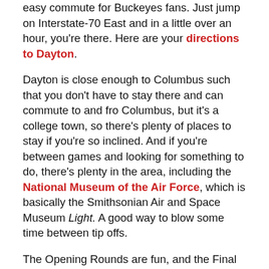easy commute for Buckeyes fans. Just jump on Interstate-70 East and in a little over an hour, you're there. Here are your directions to Dayton.
Dayton is close enough to Columbus such that you don't have to stay there and can commute to and fro Columbus, but it's a college town, so there's plenty of places to stay if you're so inclined. And if you're between games and looking for something to do, there's plenty in the area, including the National Museum of the Air Force, which is basically the Smithsonian Air and Space Museum Light. A good way to blow some time between tip offs.
The Opening Rounds are fun, and the Final Four is an experience, but for my money, the Regional Final games are the best the three weeks of games have to offer. Usually all the first and second round Cinderellas